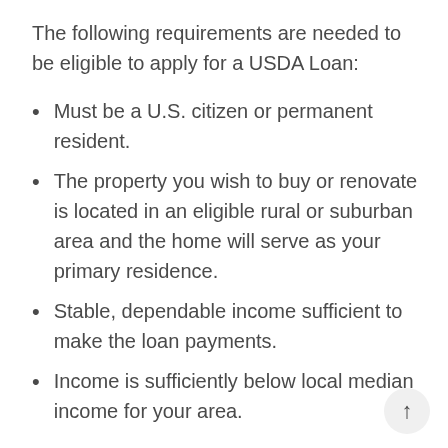The following requirements are needed to be eligible to apply for a USDA Loan:
Must be a U.S. citizen or permanent resident.
The property you wish to buy or renovate is located in an eligible rural or suburban area and the home will serve as your primary residence.
Stable, dependable income sufficient to make the loan payments.
Income is sufficiently below local median income for your area.